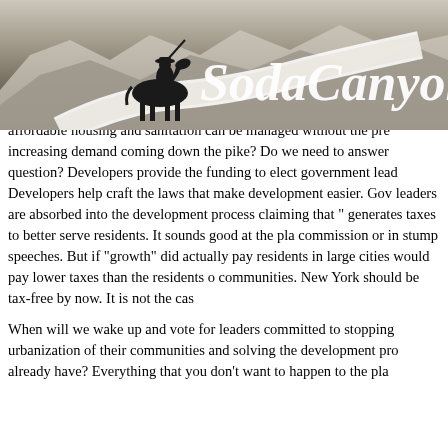[Figure (logo): SodaCanyonRoad website header banner with silhouette of a cowboy on horseback against mountain landscape background, with 'SodaCanyonRo' text in italic white/cream font]
and higher taxes — is the lack of recognition that the projects that under the guise of "economic development" benefit a few - at the cost of quality of life of current residents now and of increased taxes on all in the future.
Why is it so difficult for governments to recognize that they can better serve citizens by attempting to limit development, so that the issues of traffic, affordable housing and sanitation can be managed without the pressure of increasing demand coming down the pike? Do we need to answer that question? Developers provide the funding to elect government leaders. Developers help craft the laws that make development easier. Government leaders are absorbed into the development process claiming that "growth" generates taxes to better serve residents. It sounds good at the planning commission or in stump speeches. But if "growth" did actually pay for itself, residents in large cities would pay lower taxes than the residents of smaller communities. New York should be tax-free by now. It is not the case.
When will we wake up and vote for leaders committed to stopping the urbanization of their communities and solving the development problems we already have? Everything that you don't want to happen to the place...